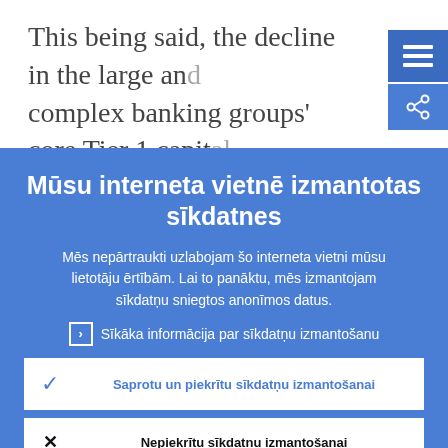This being said, the decline in the large and complex banking groups' core Tier 1 capital ratios under the adverse scenario is fou…
Mūsu interneta vietnē izmantotas sīkdatnes
Mēs nepārtraukti uzlabojam šo interneta vietni mūsu lietotāju ērtībām. Lai to panāktu, mēs izmantojam sīkdatņu sniegtos anonīmos datus.
Sīkāka informācija par sīkdatņu izmantošanu
Saprotu un piekrītu sīkdatņu izmantošanai
Nepiekrītu sīkdatņu izmantošanai